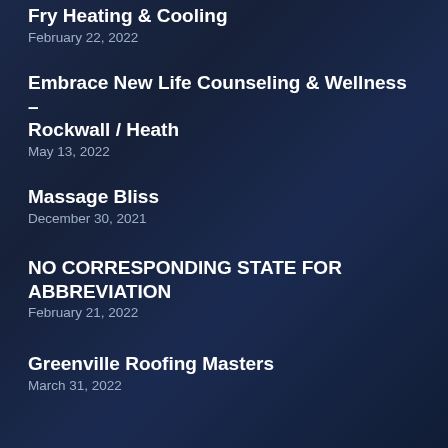Fry Heating & Cooling
February 22, 2022
Embrace New Life Counseling & Wellness – Rockwall / Heath
May 13, 2022
Massage Bliss
December 30, 2021
NO CORRESPONDING STATE FOR ABBREVIATION
February 21, 2022
Greenville Roofing Masters
March 31, 2022